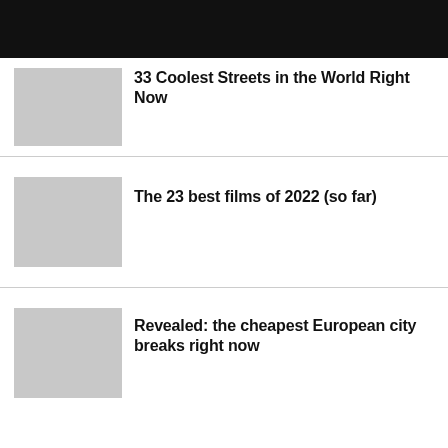[Figure (photo): Black header bar at top of page]
33 Coolest Streets in the World Right Now
The 23 best films of 2022 (so far)
Revealed: the cheapest European city breaks right now